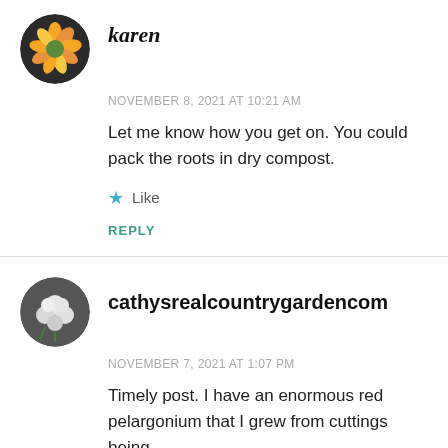[Figure (photo): Circular avatar of Karen showing yellow/orange flowers]
karen
NOVEMBER 8, 2021 AT 10:21 AM
Let me know how you get on. You could pack the roots in dry compost.
★ Like
REPLY
[Figure (photo): Circular avatar of cathysrealcountrygardencom showing white flowers/cotton]
cathysrealcountrygardencom
NOVEMBER 7, 2021 AT 1:07 PM
Timely post. I have an enormous red pelargonium that I grew from cuttings being